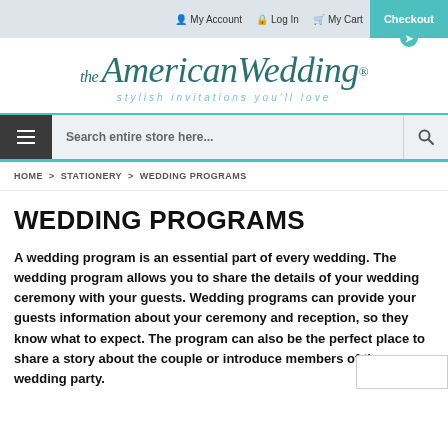My Account  Log In  My Cart  Checkout
[Figure (logo): the AmericanWedding® logo with tagline: stylish invitations you'll love]
Search entire store here...
HOME > STATIONERY > WEDDING PROGRAMS
WEDDING PROGRAMS
A wedding program is an essential part of every wedding. The wedding program allows you to share the details of your wedding ceremony with your guests. Wedding programs can provide your guests information about your ceremony and reception, so they know what to expect. The program can also be the perfect place to share a story about the couple or introduce members of the wedding party.